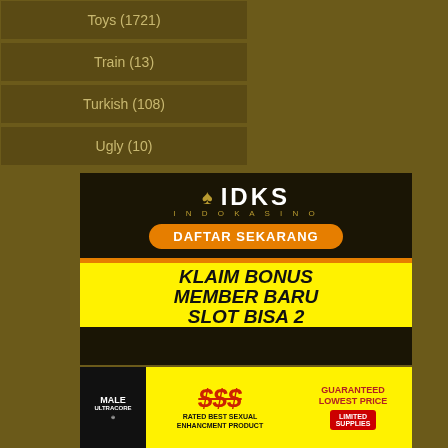Toys (1721)
Train (13)
Turkish (108)
Ugly (10)
[Figure (illustration): IDKS Indokasino advertisement banner with logo and DAFTAR SEKARANG button]
[Figure (illustration): KLAIM BONUS MEMBER BARU SLOT BISA 2 promotional text on yellow background]
[Figure (advertisement): Male Ultracore product ad with $$$ strikethrough, GUARANTEED LOWEST PRICE, RATED BEST SEXUAL ENHANCEMENT PRODUCT, LIMITED SUPPLIES]